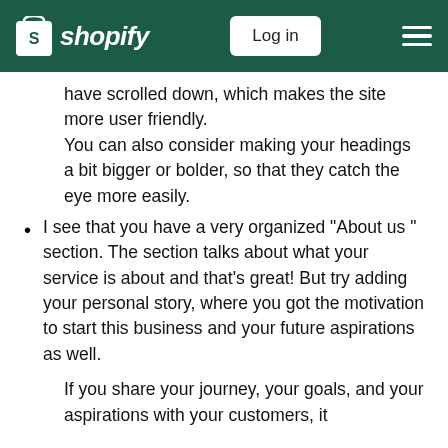shopify | Log in
have scrolled down, which makes the site more user friendly. You can also consider making your headings a bit bigger or bolder, so that they catch the eye more easily.
I see that you have a very organized "About us " section. The section talks about what your service is about and that's great! But try adding your personal story, where you got the motivation to start this business and your future aspirations as well.
If you share your journey, your goals, and your aspirations with your customers, it